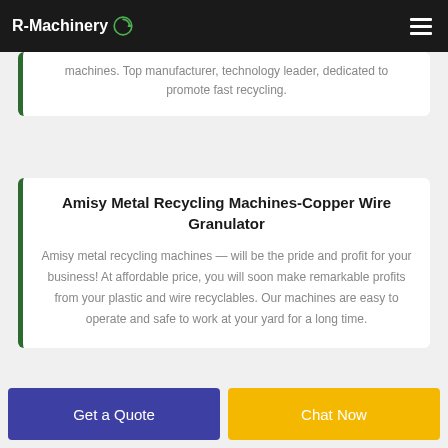R-Machinery
machines. Top manufacturer, technology leader, dedicated to promote fast recycling.
Amisy Metal Recycling Machines-Copper Wire Granulator
Amisy metal recycling machines — will be the pride and profit for your business! At affordable price, you will soon make remarkable profits from your plastic and wire recyclables. Our machines are easy to operate and safe to work at your yard for a long time.
Get a Quote
Chat Now